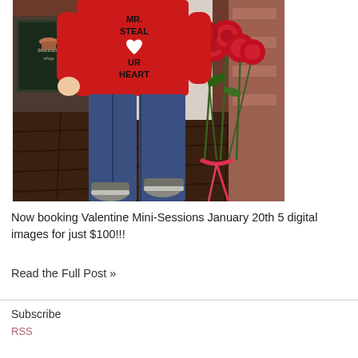[Figure (photo): A young child wearing a red 'MR STEAL YOUR HEART' sweatshirt and jeans, holding a bouquet of red roses with a red ribbon, standing on a dark wooden floor with a Valentine's Day themed backdrop.]
Now booking Valentine Mini-Sessions January 20th 5 digital images for just $100!!!
Read the Full Post »
Subscribe
RSS